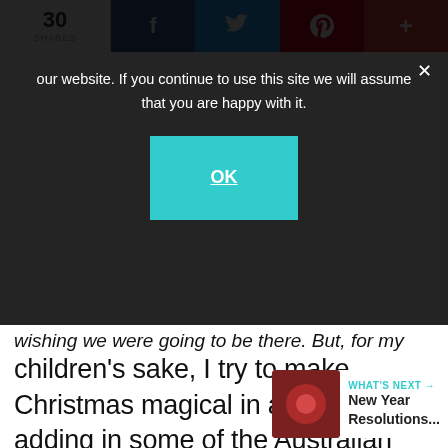30 SHARES | f | t | p | +
our website. If you continue to use this site we will assume that you are happy with it.
OK
wishing we were going to be there. But, for my children's sake, I try to make Christmas magical in any case, adding in some of the Australian Christmas traditions, along with the Italian ones. I know they will enjoy Christmas with their Italian family.
1
WHAT'S NEXT → New Year Resolutions...